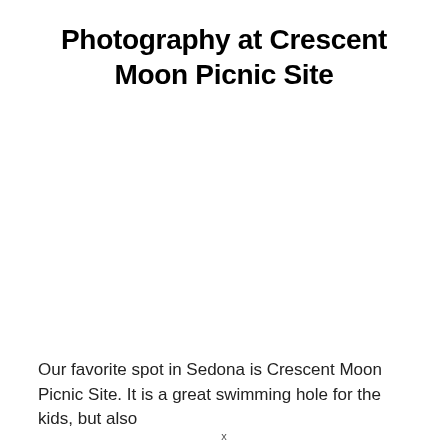Photography at Crescent Moon Picnic Site
[Figure (photo): Photograph placeholder area — large white/empty space representing an image of Crescent Moon Picnic Site in Sedona]
Our favorite spot in Sedona is Crescent Moon Picnic Site. It is a great swimming hole for the kids, but also
x